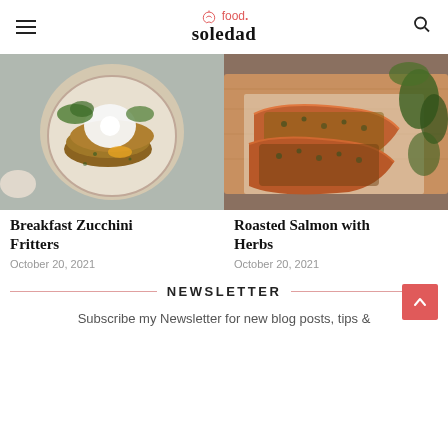food. soledad
[Figure (photo): Overhead view of breakfast zucchini fritters served on a plate with a poached egg, greens, and yolk running.]
Breakfast Zucchini Fritters
October 20, 2021
[Figure (photo): Two roasted salmon fillets with herb crust on a wooden cutting board surrounded by fresh herbs.]
Roasted Salmon with Herbs
October 20, 2021
NEWSLETTER
Subscribe my Newsletter for new blog posts, tips &